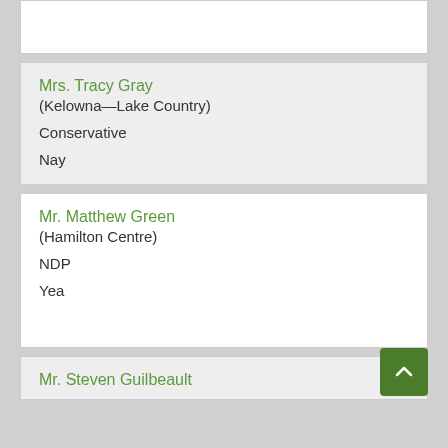(partial card — top of page, cut off)
Mrs. Tracy Gray
(Kelowna—Lake Country)

Conservative

Nay
Mr. Matthew Green
(Hamilton Centre)

NDP

Yea
Mr. Steven Guilbeault (partial — bottom of page)